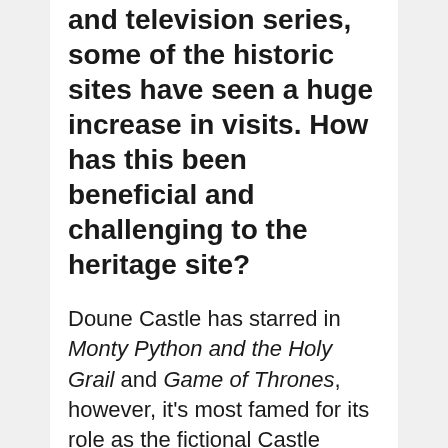and television series, some of the historic sites have seen a huge increase in visits. How has this been beneficial and challenging to the heritage site?
Doune Castle has starred in Monty Python and the Holy Grail and Game of Thrones, however, it's most famed for its role as the fictional Castle Leoch in the hit historical time-travelling TV series Outlander. The centuries old stones could to still for it ...